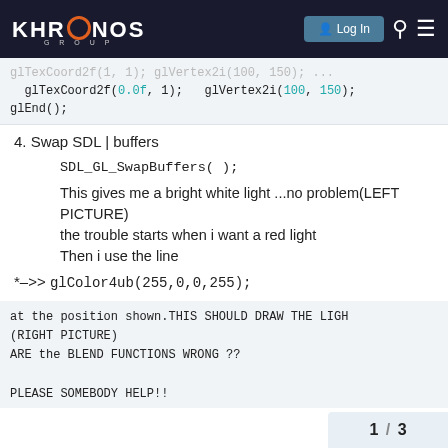KHRONOS GROUP — Log In
glTexCoord2f(0.0f, 1);  glVertex2i(100, 150);
glEnd();
4. Swap SDL | buffers
SDL_GL_SwapBuffers();
This gives me a bright white light ...no problem(LEFT PICTURE)
the trouble starts when i want a red light
Then i use the line
*–>> glColor4ub(255,0,0,255);
at the position shown.THIS SHOULD DRAW THE LIGH
(RIGHT PICTURE)
ARE the BLEND FUNCTIONS WRONG ??

PLEASE SOMEBODY HELP!!
1 / 3